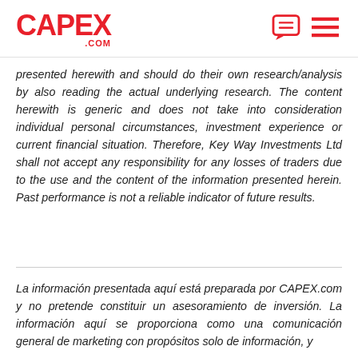CAPEX.com
presented herewith and should do their own research/analysis by also reading the actual underlying research. The content herewith is generic and does not take into consideration individual personal circumstances, investment experience or current financial situation. Therefore, Key Way Investments Ltd shall not accept any responsibility for any losses of traders due to the use and the content of the information presented herein. Past performance is not a reliable indicator of future results.
La información presentada aquí está preparada por CAPEX.com y no pretende constituir un asesoramiento de inversión. La información aquí se proporciona como una comunicación general de marketing con propósitos solo de información, y